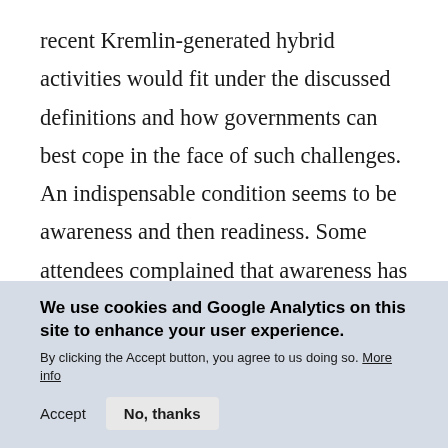recent Kremlin-generated hybrid activities would fit under the discussed definitions and how governments can best cope in the face of such challenges. An indispensable condition seems to be awareness and then readiness. Some attendees complained that awareness has not yet even reached the national level in some cases. The issue as a whole underlined the significance of resilience as an area for further
We use cookies and Google Analytics on this site to enhance your user experience. By clicking the Accept button, you agree to us doing so. More info
Accept  No, thanks